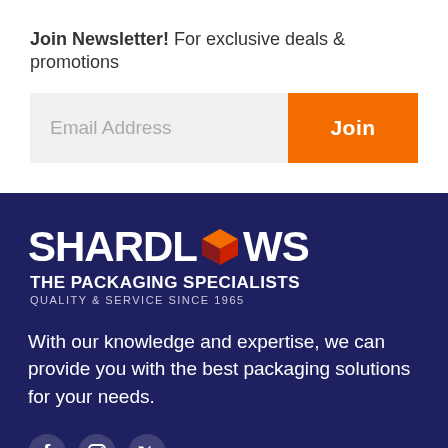Join Newsletter! For exclusive deals & promotions
Email Address
Join
[Figure (logo): Shardlows The Packaging Specialists logo with orange 3D box icon, white text on dark navy background. QUALITY & SERVICE SINCE 1965]
With our knowledge and expertise, we can provide you with the best packaging solutions for your needs.